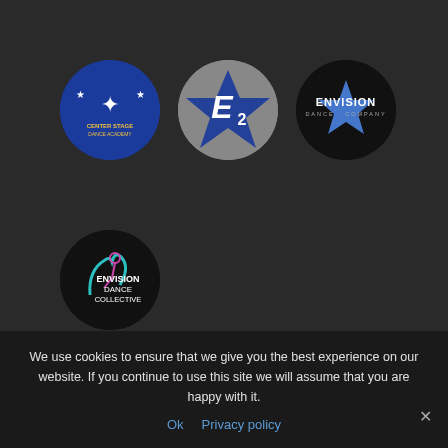[Figure (logo): Center Stage Dance Academy circular logo on blue background with star and dancer silhouette]
[Figure (logo): E2 circular logo on gray background with blue star and letter E]
[Figure (logo): Envision Dance Company circular logo on black background with blue star]
[Figure (logo): Envision Dance Collective circular logo on black background with teal dancer figure]
Phone: 847-669-2510
Email: info@danceatcsda.com
We use cookies to ensure that we give you the best experience on our website. If you continue to use this site we will assume that you are happy with it.
Ok  Privacy policy